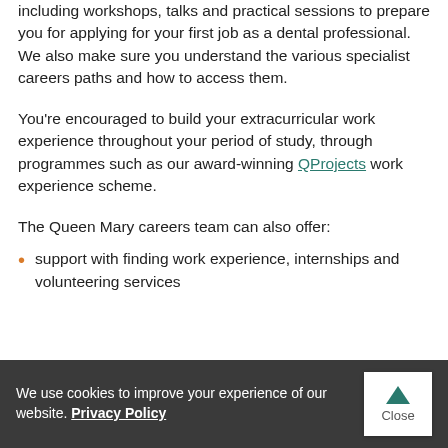including workshops, talks and practical sessions to prepare you for applying for your first job as a dental professional. We also make sure you understand the various specialist careers paths and how to access them.
You're encouraged to build your extracurricular work experience throughout your period of study, through programmes such as our award-winning QProjects work experience scheme.
The Queen Mary careers team can also offer:
support with finding work experience, internships and volunteering services
We use cookies to improve your experience of our website. Privacy Policy